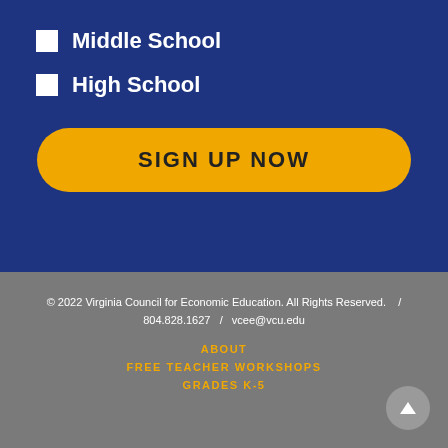Middle School
High School
SIGN UP NOW
© 2022 Virginia Council for Economic Education. All Rights Reserved.    /    804.828.1627    /    vcee@vcu.edu
ABOUT
FREE TEACHER WORKSHOPS
GRADES K-5